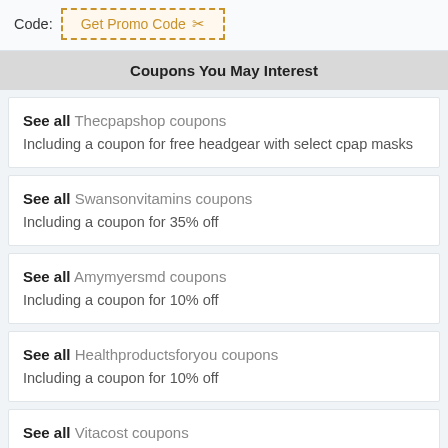Code: Get Promo Code
Coupons You May Interest
See all Thecpapshop coupons Including a coupon for free headgear with select cpap masks
See all Swansonvitamins coupons Including a coupon for 35% off
See all Amymyersmd coupons Including a coupon for 10% off
See all Healthproductsforyou coupons Including a coupon for 10% off
See all Vitacost coupons